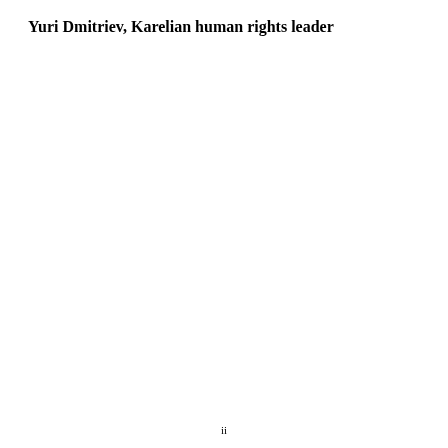Yuri Dmitriev, Karelian human rights leader
ii